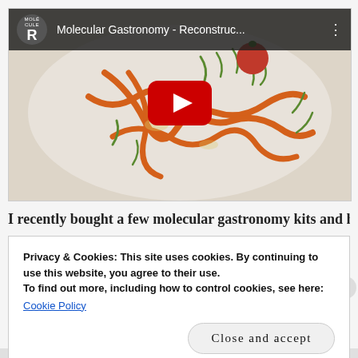[Figure (screenshot): YouTube video thumbnail showing a molecular gastronomy dish with orange noodle-like strands and green herb garnishes on a white plate. Video title reads 'Molecular Gastronomy - Reconstruc...' with a Molecule-R channel icon. A red YouTube play button is centered on the image.]
I recently bought a few molecular gastronomy kits and have
Privacy & Cookies: This site uses cookies. By continuing to use this website, you agree to their use.
To find out more, including how to control cookies, see here:
Cookie Policy
Close and accept